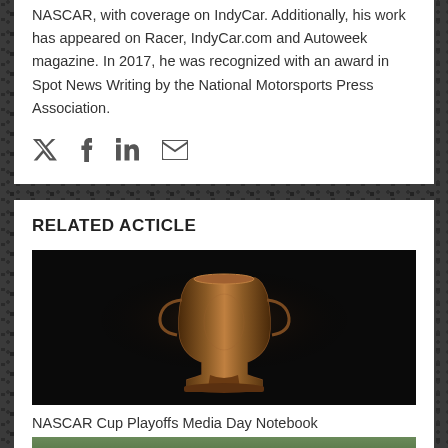NASCAR, with coverage on IndyCar. Additionally, his work has appeared on Racer, IndyCar.com and Autoweek magazine. In 2017, he was recognized with an award in Spot News Writing by the National Motorsports Press Association.
[Figure (illustration): Social media icons: Twitter, Facebook, LinkedIn, Email]
RELATED ACTICLE
[Figure (photo): NASCAR trophy (cup) on a stand against a black background]
NASCAR Cup Playoffs Media Day Notebook